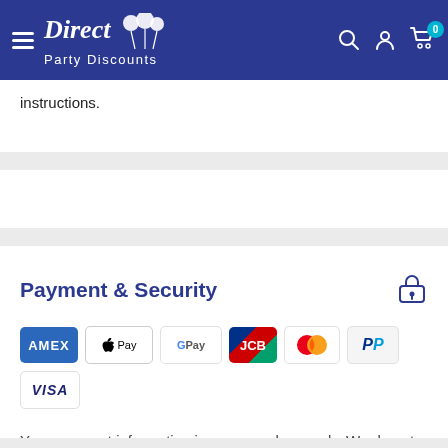Direct Party Discounts
instructions.
Payment & Security
[Figure (logo): Payment method icons: American Express, Apple Pay, Google Pay, JCB, Mastercard, PayPal, Visa]
Your payment information is processed securely. We do not store credit card details nor have access to your credit card information.